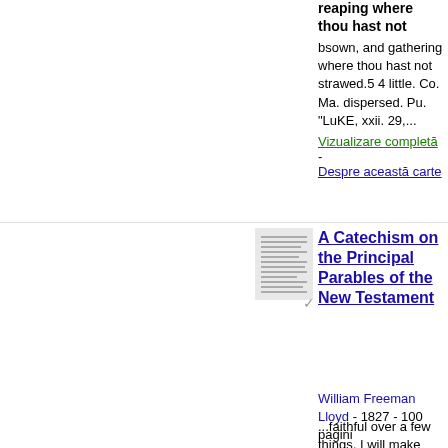reaping where thou hast not bsown, and gathering where thou hast not strawed.5 4 little. Co. Ma. dispersed. Pu. "LuKE, xxii. 29,...
Vizualizare completă - Despre această carte
[Figure (photo): Thumbnail image of book page]
A Catechism on the Principal Parables of the New Testament
William Freeman Lloyd - 1827 - 100 pagini
...faithful over a few things, I will make thee ruler over many...